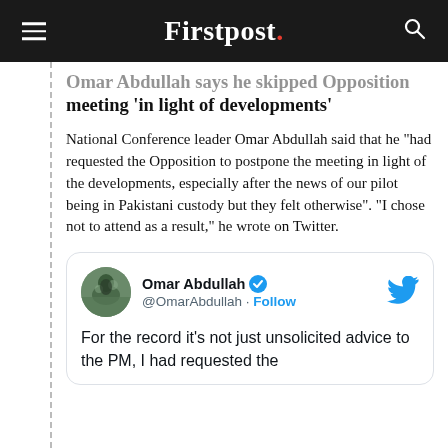Firstpost.
Omar Abdullah says he skipped Opposition meeting 'in light of developments'
National Conference leader Omar Abdullah said that he "had requested the Opposition to postpone the meeting in light of the developments, especially after the news of our pilot being in Pakistani custody but they felt otherwise". "I chose not to attend as a result," he wrote on Twitter.
[Figure (screenshot): Embedded tweet from @OmarAbdullah with verified badge. Tweet text begins: 'For the record it’s not just unsolicited advice to the PM, I had requested the [opposition to postpone the meeting...]'. Includes Twitter bird logo, user avatar photo of a man in mountainous landscape.]